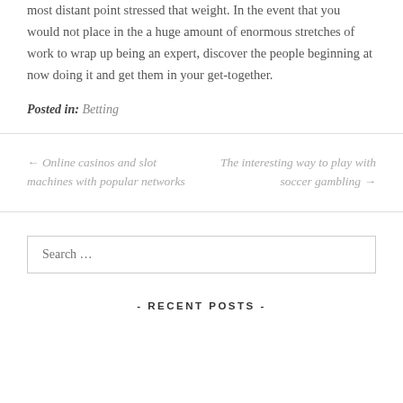most distant point stressed that weight. In the event that you would not place in the a huge amount of enormous stretches of work to wrap up being an expert, discover the people beginning at now doing it and get them in your get-together.
Posted in: Betting
← Online casinos and slot machines with popular networks
The interesting way to play with soccer gambling →
Search …
- RECENT POSTS -